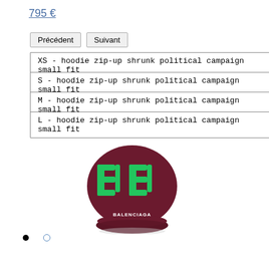795 €
Précédent | Suivant
XS - hoodie zip-up shrunk political campaign small fit
S - hoodie zip-up shrunk political campaign small fit
M - hoodie zip-up shrunk political campaign small fit
L - hoodie zip-up shrunk political campaign small fit
[Figure (photo): Balenciaga cap, dark red/maroon color with green BB logo, viewed from the back, shown on white background]
• ○